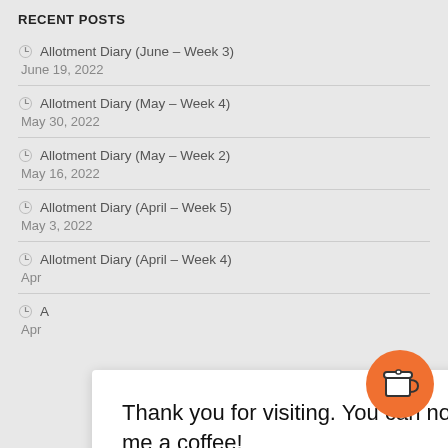RECENT POSTS
Allotment Diary (June – Week 3)
June 19, 2022
Allotment Diary (May – Week 4)
May 30, 2022
Allotment Diary (May – Week 2)
May 16, 2022
Allotment Diary (April – Week 5)
May 3, 2022
Allotment Diary (April – Week 4)
Apr
A
Apr
Thank you for visiting. You can now buy me a coffee!
[Figure (illustration): Orange circular coffee cup button icon]